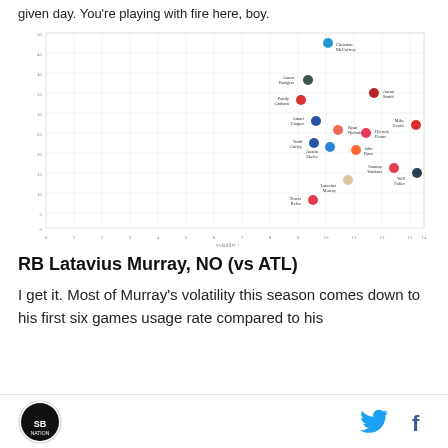given day. You're playing with fire here, boy.
[Figure (scatter-plot): Scatter plot of NFL running backs showing volatility vs usage rate. Points are labeled with player names and team logos. Notable players include Christian McCaffrey (top right area), Aaron Rodgers, Amari Cooper, Latavius Murray, Travis Kelce, and others. Axes show numeric values with x-axis labeled 'volatility'.]
RB Latavius Murray, NO (vs ATL)
I get it. Most of Murray's volatility this season comes down to his first six games usage rate compared to his